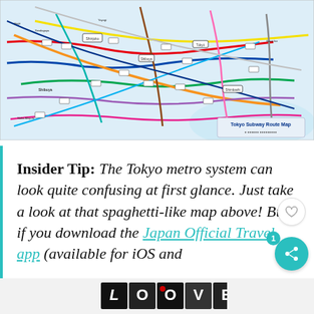[Figure (map): Tokyo Subway Route Map showing a complex network of colored metro lines connecting numerous stations across Tokyo, with a legend in the lower right corner.]
Insider Tip: The Tokyo metro system can look quite confusing at first glance. Just take a look at that spaghetti-like map above! But if you download the Japan Official Travel app (available for iOS and
[Figure (logo): LOOVE stylized black and white logo at bottom of page, with a small red heart. Adjacent to a close button (×) and a 'w°' logo.]